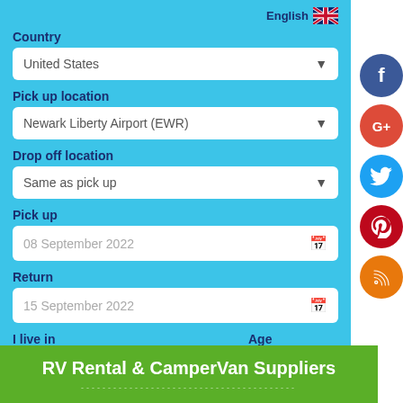[Figure (screenshot): Web form UI for RV/campervan rental search with country, pick up location, drop off location, pick up date, return date, residence country, age fields, and a Search button. Social media buttons (Facebook, Google+, Twitter, Pinterest, RSS) on the right side. Language selector showing English with UK flag.]
RV Rental & CamperVan Suppliers